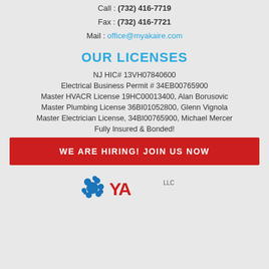Call : (732) 416-7719
Fax : (732) 416-7721
Mail : office@myakaire.com
OUR LICENSES
NJ HIC# 13VH07840600
Electrical Business Permit # 34EB00765900
Master HVACR License 19HC00013400, Alan Borusovic
Master Plumbing License 36BI01052800, Glenn Vignola
Master Electrician License, 34BI00765900, Michael Mercer
Fully Insured & Bonded!
WE ARE HIRING! JOIN US NOW
[Figure (logo): Company logo with splat graphic and stylized text, LLC]